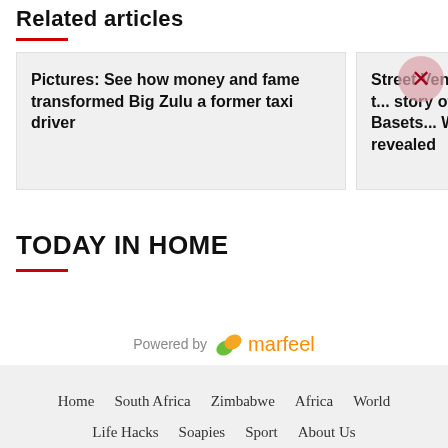Related articles
Pictures: See how money and fame transformed Big Zulu a former taxi driver
Street Vendor t... story of Basetsa... Worth revealed
TODAY IN HOME
[Figure (logo): Powered by marfeel logo with green leaf icon and orange text]
Home  South Africa  Zimbabwe  Africa  World  Life Hacks  Soapies  Sport  About Us